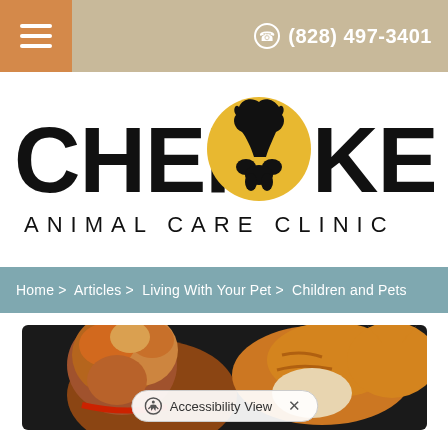(828) 497-3401
[Figure (logo): Cherokee Animal Care Clinic logo with silhouettes of animals (horse, dog, cat, rabbit) against a yellow circle]
Home > Articles > Living With Your Pet > Children and Pets
[Figure (photo): A fluffy brown/red dog and an orange tabby cat facing each other on a dark surface]